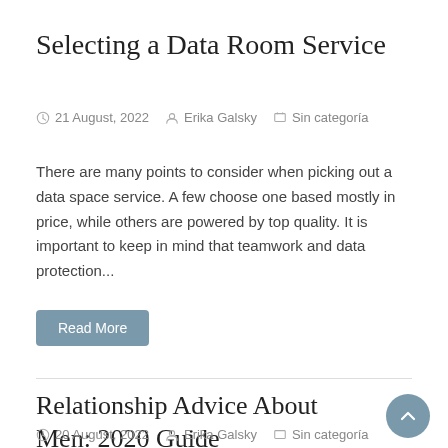Selecting a Data Room Service
21 August, 2022   Erika Galsky   Sin categoría
There are many points to consider when picking out a data space service. A few choose one based mostly in price, while others are powered by top quality. It is important to keep in mind that teamwork and data protection...
Read More
Relationship Advice About Men: 2020 Guide
20 August, 2022   Erika Galsky   Sin categoría